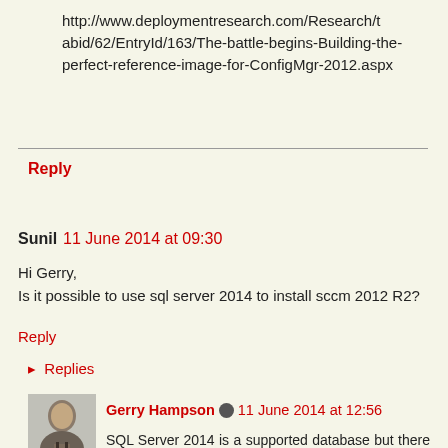http://www.deploymentresearch.com/Research/tabid/62/EntryId/163/The-battle-begins-Building-the-perfect-reference-image-for-ConfigMgr-2012.aspx
Reply
Sunil  11 June 2014 at 09:30
Hi Gerry,
Is it possible to use sql server 2014 to install sccm 2012 R2?
Reply
▸ Replies
Gerry Hampson  11 June 2014 at 12:56
SQL Server 2014 is a supported database but there are a lot of gotchas. You have to upgrade from a previous SQL version - NOT a new install.